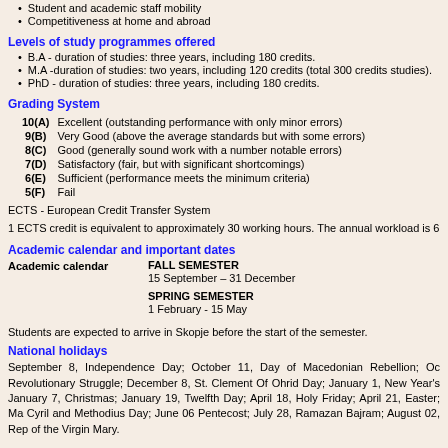Student and academic staff mobility
Competitiveness at home and abroad
Levels of study programmes offered
B.A - duration of studies: three years, including 180 credits.
M.A -duration of studies: two years, including 120 credits (total 300 credits studies).
PhD - duration of studies: three years, including 180 credits.
Grading System
| Grade | Description |
| --- | --- |
| 10(A) | Excellent (outstanding performance with only minor errors) |
| 9(B) | Very Good (above the average standards but with some errors) |
| 8(C) | Good (generally sound work with a number notable errors) |
| 7(D) | Satisfactory (fair, but with significant shortcomings) |
| 6(E) | Sufficient (performance meets the minimum criteria) |
| 5(F) | Fail |
ECTS - European Credit Transfer System
1 ECTS credit is equivalent to approximately 30 working hours. The annual workload is 6
Academic calendar and important dates
Academic calendar   FALL SEMESTER
15 September – 31 December

SPRING SEMESTER
1 February - 15 May
Students are expected to arrive in Skopje before the start of the semester.
National holidays
September 8, Independence Day; October 11, Day of Macedonian Rebellion; Oc Revolutionary Struggle; December 8, St. Clement Of Ohrid Day; January 1, New Year's January 7, Christmas; January 19, Twelfth Day; April 18, Holy Friday; April 21, Easter; Ma Cyril and Methodius Day; June 06 Pentecost; July 28, Ramazan Bajram; August 02, Rep of the Virgin Mary.